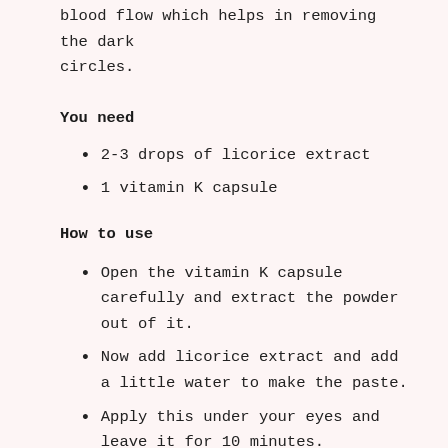blood flow which helps in removing the dark circles.
You need
2-3 drops of licorice extract
1 vitamin K capsule
How to use
Open the vitamin K capsule carefully and extract the powder out of it.
Now add licorice extract and add a little water to make the paste.
Apply this under your eyes and leave it for 10 minutes.